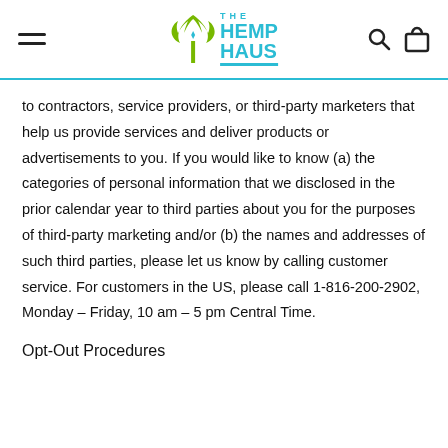THE HEMP HAUS
to contractors, service providers, or third-party marketers that help us provide services and deliver products or advertisements to you. If you would like to know (a) the categories of personal information that we disclosed in the prior calendar year to third parties about you for the purposes of third-party marketing and/or (b) the names and addresses of such third parties, please let us know by calling customer service. For customers in the US, please call 1-816-200-2902, Monday – Friday, 10 am – 5 pm Central Time.
Opt-Out Procedures